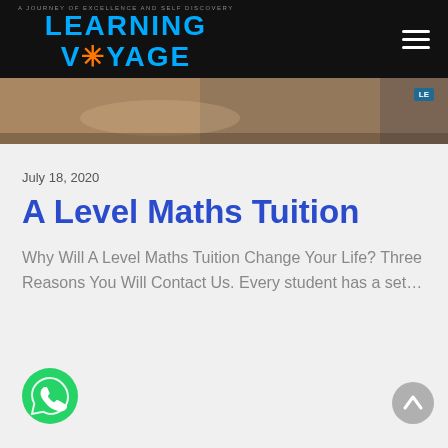A JOURNEY OF EXCELLENCE AND SELF DISCOVERY — LEARNING VOYAGE
[Figure (photo): Partial hero image of student writing, with Learning Voyage logo overlay on right]
July 18, 2020
A Level Maths Tuition
Why Will A Level Maths Tuition Change Your Life? Three Reasons You Will Contact Us. Every student has a set...
[Figure (logo): WhatsApp contact button (green circle with phone handset icon)]
[Figure (other): Scroll-to-top button (grey circle with upward chevron)]